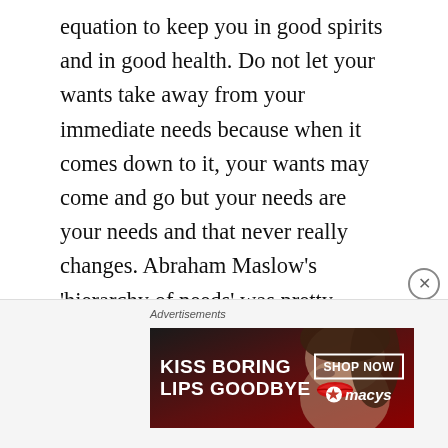equation to keep you in good spirits and in good health. Do not let your wants take away from your immediate needs because when it comes down to it, your wants may come and go but your needs are your needs and that never really changes. Abraham Maslow’s ‘hierarchy of needs’ was pretty much on the money in terms of distinguishing what are most urgent needs are and beyond that, what could be considered wants. We have the physical needs of eating, drinking, sleeping, maintaining homeostasis (not too warm or too cold) but beyond that, we start to go into the wants
[Figure (other): Advertisement banner for Macy's lipstick product. Text reads 'KISS BORING LIPS GOODBYE' with a 'SHOP NOW' button and Macy's star logo. Background shows a woman's face with red lips.]